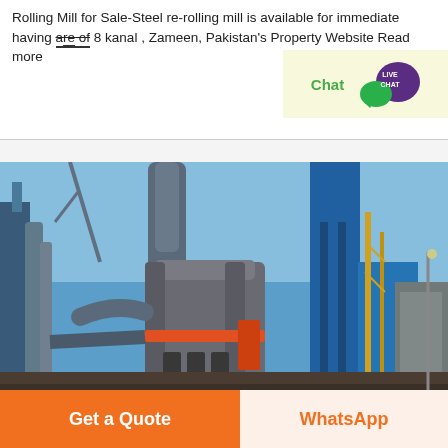Rolling Mill for Sale-Steel re-rolling mill is available for immediate having area of 8 kanal , Zameen, Pakistan's Property Website Read more
[Figure (screenshot): Live Chat widget with green chat text and purple speech bubble icon with LIVE CHAT label]
[Figure (photo): Industrial steel rolling mill facility showing large cylindrical machinery, pipes, metal structures, blue sky background]
Get a Quote
WhatsApp